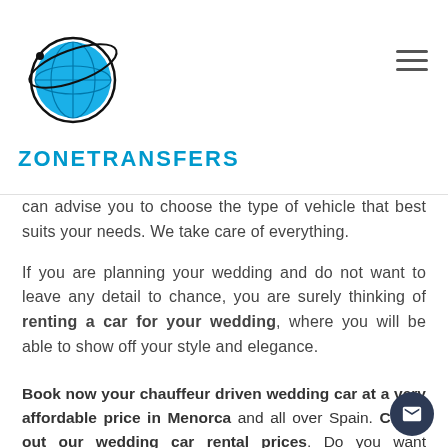ZONETRANSFERS
can advise you to choose the type of vehicle that best suits your needs. We take care of everything.
If you are planning your wedding and do not want to leave any detail to chance, you are surely thinking of renting a car for your wedding, where you will be able to show off your style and elegance.
Book now your chauffeur driven wedding car at a very affordable price in Menorca and all over Spain. Check out our wedding car rental prices. Do you want everything to be perfect on your wedding day? Trust Zonetransfers.com.